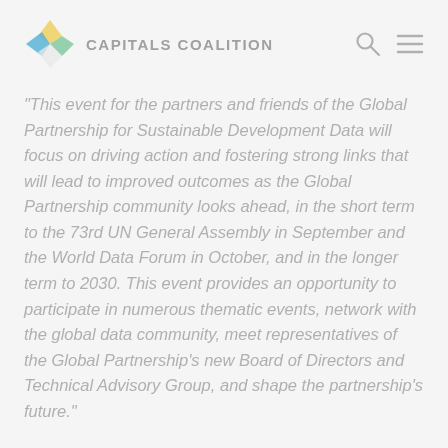CAPITALS COALITION
"This event for the partners and friends of the Global Partnership for Sustainable Development Data will focus on driving action and fostering strong links that will lead to improved outcomes as the Global Partnership community looks ahead, in the short term to the 73rd UN General Assembly in September and the World Data Forum in October, and in the longer term to 2030. This event provides an opportunity to participate in numerous thematic events, network with the global data community, meet representatives of the Global Partnership's new Board of Directors and Technical Advisory Group, and shape the partnership's future."